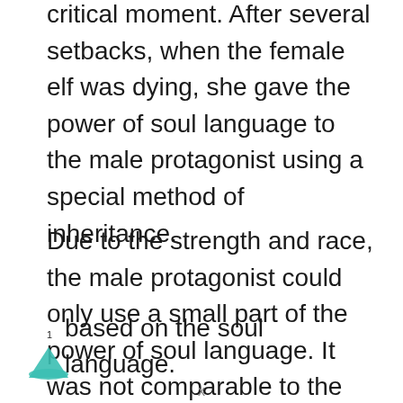critical moment. After several setbacks, when the female elf was dying, she gave the power of soul language to the male protagonist using a special method of inheritance.
Due to the strength and race, the male protagonist could only use a small part of the power of soul language. It was not comparable to the real elf, but the male protagonist took a different approach and developed his own special beast taming skill based on the soul language.
1
x